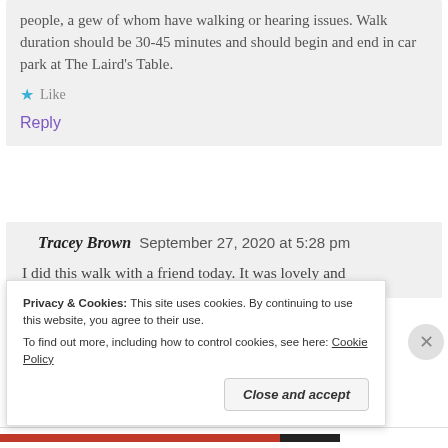people, a gew of whom have walking or hearing issues. Walk duration should be 30-45 minutes and should begin and end in car park at The Laird's Table.
Like
Reply
Tracey Brown  September 27, 2020 at 5:28 pm
I did this walk with a friend today. It was lovely and
Privacy & Cookies: This site uses cookies. By continuing to use this website, you agree to their use.
To find out more, including how to control cookies, see here: Cookie Policy
Close and accept